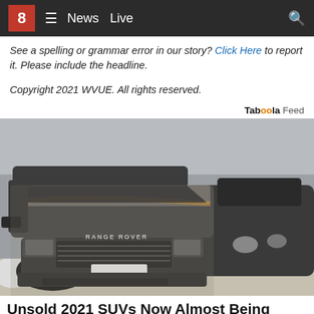8 News Live
See a spelling or grammar error in our story? Click Here to report it. Please include the headline.
Copyright 2021 WVUE. All rights reserved.
Taboola Feed
[Figure (photo): A dusty dark-colored Range Rover SUV parked next to another dark SUV, covered in dirt and debris, viewed from the front quarter angle.]
Unsold 2021 SUVs Now Almost Being Given